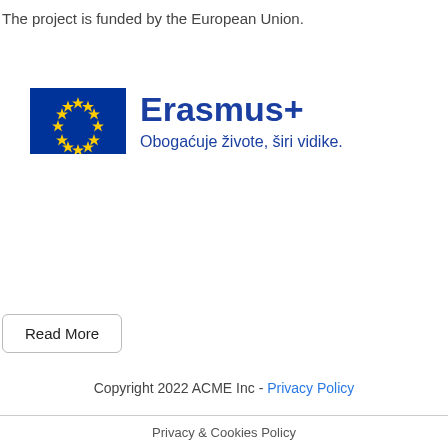The project is funded by the European Union.
[Figure (logo): Erasmus+ logo with EU flag (blue rectangle with circle of yellow stars) and text 'Erasmus+' in dark blue, with tagline 'Obogaćuje živote, širi vidike.' in dark blue below]
Read More
Copyright 2022 ACME Inc - Privacy Policy
Privacy & Cookies Policy